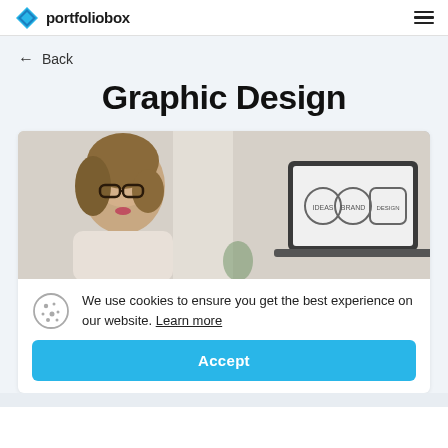portfoliobox
← Back
Graphic Design
[Figure (photo): A woman with glasses working at a desk, with a laptop screen showing graphic design brand logos (IDEAS, BRAND, DESIGN) visible in the background.]
We use cookies to ensure you get the best experience on our website. Learn more
Accept